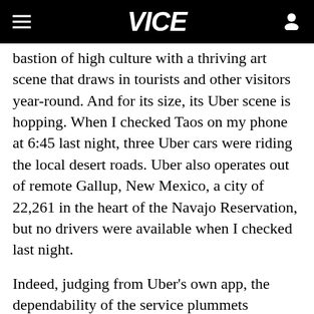VICE
bastion of high culture with a thriving art scene that draws in tourists and other visitors year-round. And for its size, its Uber scene is hopping. When I checked Taos on my phone at 6:45 last night, three Uber cars were riding the local desert roads. Uber also operates out of remote Gallup, New Mexico, a city of 22,261 in the heart of the Navajo Reservation, but no drivers were available when I checked last night.
Indeed, judging from Uber's own app, the dependability of the service plummets precipitously once you move away from close-